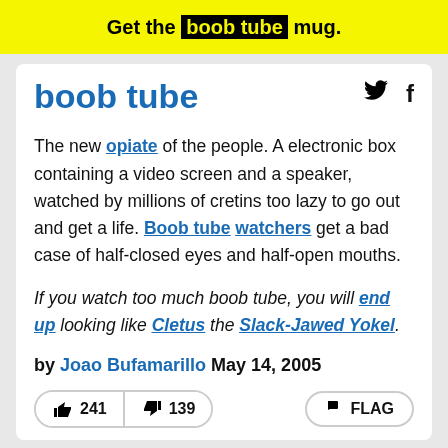Get the boob tube mug.
boob tube
The new opiate of the people. A electronic box containing a video screen and a speaker, watched by millions of cretins too lazy to go out and get a life. Boob tube watchers get a bad case of half-closed eyes and half-open mouths.
If you watch too much boob tube, you will end up looking like Cletus the Slack-Jawed Yokel.
by Joao Bufamarillo May 14, 2005